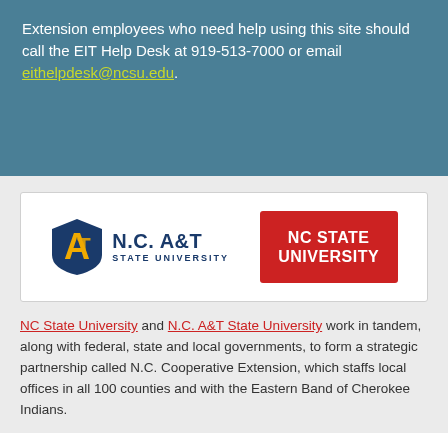Extension employees who need help using this site should call the EIT Help Desk at 919-513-7000 or email eithelpdesk@ncsu.edu.
[Figure (logo): N.C. A&T State University logo (blue and gold) and NC State University logo (red and white) side by side in a white box]
NC State University and N.C. A&T State University work in tandem, along with federal, state and local governments, to form a strategic partnership called N.C. Cooperative Extension, which staffs local offices in all 100 counties and with the Eastern Band of Cherokee Indians.